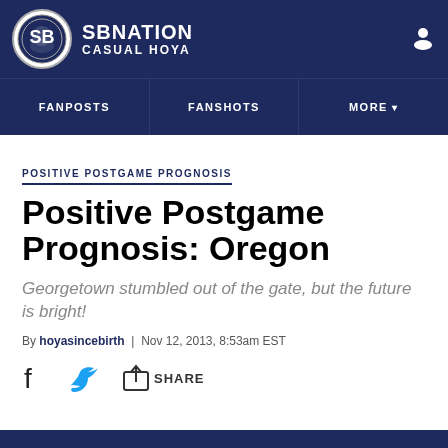SB NATION | CASUAL HOYA
FANPOSTS | FANSHOTS | MORE
POSITIVE POSTGAME PROGNOSIS
Positive Postgame Prognosis: Oregon
Georgetown stumbled out of the gate, but the future is bright!
By hoyasincebirth | Nov 12, 2013, 8:53am EST